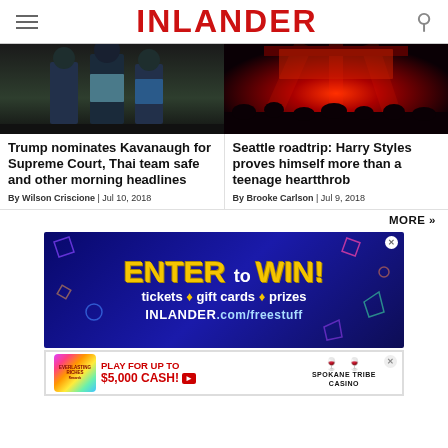INLANDER
[Figure (photo): Band photo of three people in dark clothing against dark background]
[Figure (photo): Concert photo with red stage lighting and crowd silhouettes]
Trump nominates Kavanaugh for Supreme Court, Thai team safe and other morning headlines
Seattle roadtrip: Harry Styles proves himself more than a teenage heartthrob
By Wilson Criscione | Jul 10, 2018
By Brooke Carlson | Jul 9, 2018
MORE »
[Figure (infographic): Advertisement banner: ENTER to WIN! tickets + gift cards + prizes. INLANDER.com/freestuff]
[Figure (infographic): Casino advertisement: PLAY FOR UP TO $5,000 CASH! Spokane Tribe Casino. Everlasting Riches]